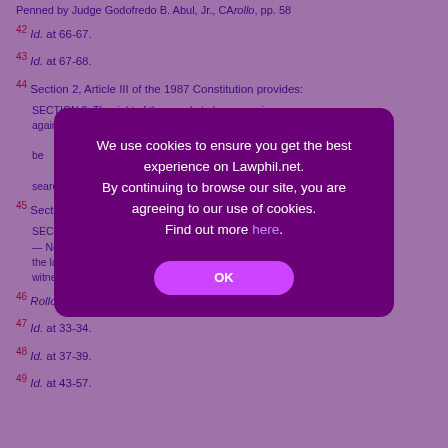Penned by Judge Godofredo B. Abul, Jr., CArollo, pp. 58...
42 Id. at 66-67.
43 Id. at 67-68.
44 Section 2, Article III of the 1987 Constitution provides:
SECTION 2. The right of the people to be secure in... against unreasonable searches and seizures of wha... ...warrant of arres... be... judge after exa... ...produce, a... searc... ...to be seized.
45 Section 8, Rule 126 of the Rules of Criminal Procedure st...
SECTION 8. Search of House, Room, or Premises t... — No search of a house, room, or any other premis... the lawful occupant thereof, or any member of his... witnesses of sufficient age and discretion residing in t...
46 Rollo, pp. 3-27.
47 Id. at 33-34.
48 Id. at 37-39.
49 Id. at 43-57.